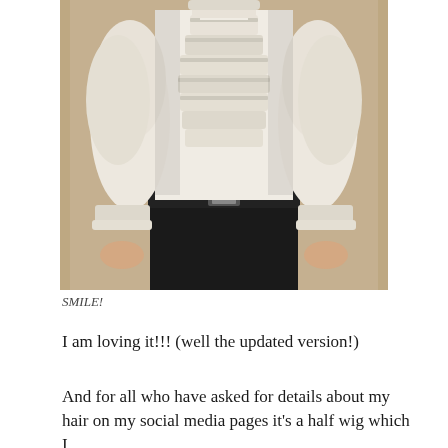[Figure (photo): A person wearing a white ruffled/frilled pirate-style shirt with puffy sleeves and ruffled cuffs, paired with black trousers and a black belt. The photo is cropped to show the torso and arms only, no head visible.]
SMILE!
I am loving it!!! (well the updated version!)
And for all who have asked for details about my hair on my social media pages it's a half wig which I